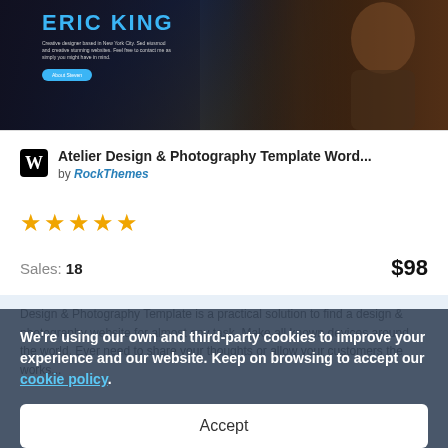[Figure (screenshot): Screenshot of a portfolio website hero section showing 'ERIC KING' in large cyan text against a dark background, with a silhouette/photo of a bearded man on the right side, small descriptive subtitle text, and a round button that says 'About Steven'.]
Atelier Design & Photography Template Word... by RockThemes
[Figure (other): Five gold/orange star rating icons displayed in a row, indicating a 5-star rating.]
Sales: 18   $98
Design & Photography Template is a practical solution to find a design & photography website for almost any task. Make all known devices around the world. Ever need to share your thoughts or allow your customers the works...
We're using our own and third-party cookies to improve your experience and our website. Keep on browsing to accept our cookie policy.
Accept